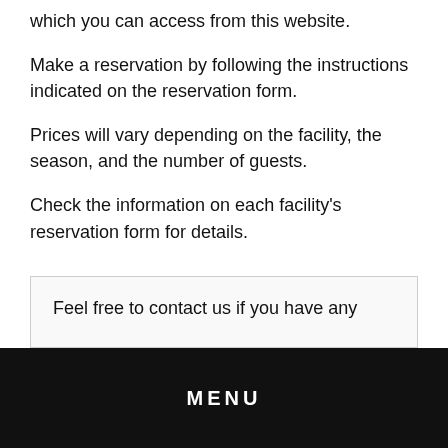which you can access from this website.
Make a reservation by following the instructions indicated on the reservation form.
Prices will vary depending on the facility, the season, and the number of guests.
Check the information on each facility's reservation form for details.
Feel free to contact us if you have any
MENU